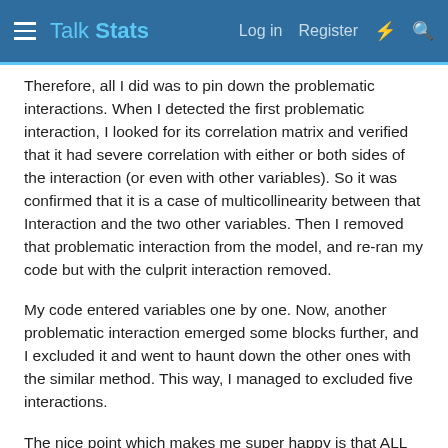Talk Stats — Log in  Register
Therefore, all I did was to pin down the problematic interactions. When I detected the first problematic interaction, I looked for its correlation matrix and verified that it had severe correlation with either or both sides of the interaction (or even with other variables). So it was confirmed that it is a case of multicollinearity between that Interaction and the two other variables. Then I removed that problematic interaction from the model, and re-ran my code but with the culprit interaction removed.
My code entered variables one by one. Now, another problematic interaction emerged some blocks further, and I excluded it and went to haunt down the other ones with the similar method. This way, I managed to excluded five interactions.
The nice point which makes me super happy is that ALL and each of those problematic interactions that made the model